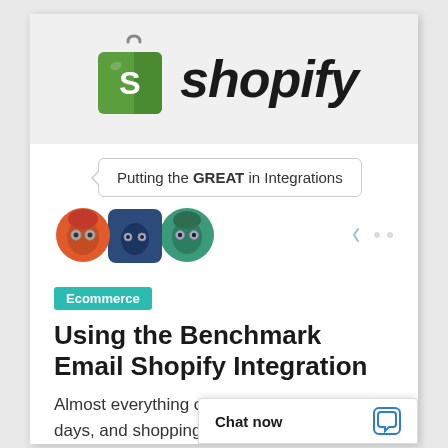[Figure (logo): Shopify logo with green shopping bag icon and italic 'shopify' wordmark in black]
Putting the GREAT in Integrations
[Figure (illustration): Three cartoon avatar characters: orange, dark blue, and green, partially visible pagination controls to the right]
Ecommerce
Using the Benchmark Email Shopify Integration
Almost everything can be done online these days, and shopping is no
May 1, 2015
Chat now